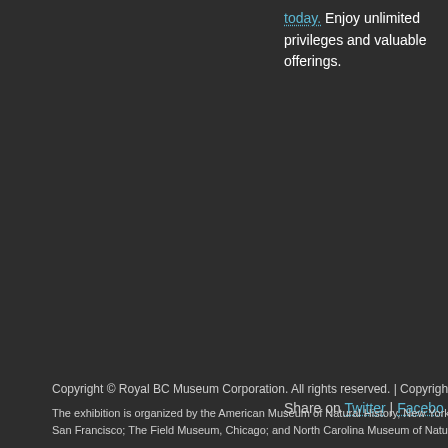today. Enjoy unlimited privileges and valuable offerings.
Share on Twitter | Facebook
Copyright © Royal BC Museum Corporation. All rights reserved. | Copyright Policy | Priv
The exhibition is organized by the American Museum of Natural History, New York (www.amh.org), in collab San Francisco; The Field Museum, Chicago; and North Carolina Museum of Natural Sciences, Raleigh. © A